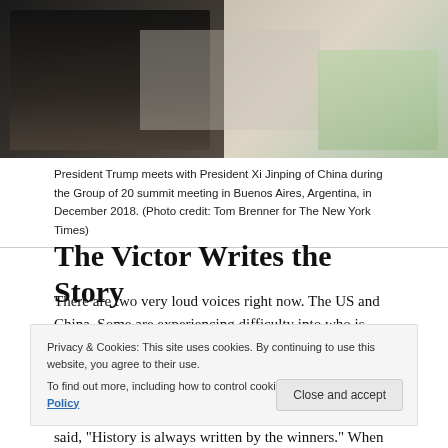[Figure (photo): Photo of President Trump meeting with President Xi Jinping of China at a dinner table during the Group of 20 summit in Buenos Aires, Argentina, December 2018. Dark-suited figures visible, formal table setting with glassware.]
President Trump meets with President Xi Jinping of China during the Group of 20 summit meeting in Buenos Aires, Argentina, in December 2018. (Photo credit: Tom Brenner for The New York Times)
The Victor Writes the Story
There are two very loud voices right now. The US and China. Some are experiencing difficulty into who is telling the truth. Did the virus originate in China or is this an American experiment gone wrong? We may never know the whole truth. One thing is for certain, history is written by the victor. The Romans didn't
Privacy & Cookies: This site uses cookies. By continuing to use this website, you agree to their use.
To find out more, including how to control cookies, see here: Cookie Policy
said, "History is always written by the winners." When two